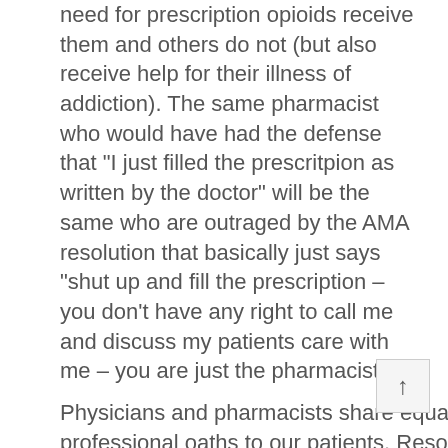need for prescription opioids receive them and others do not (but also receive help for their illness of addiction). The same pharmacist who would have had the defense that "I just filled the prescritpion as written by the doctor" will be the same who are outraged by the AMA resolution that basically just says "shut up and fill the prescription – you don't have any right to call me and discuss my patients care with me – you are just the pharmacist".
Physicians and pharmacists share equaly the responsiblity of not fulfilling our professional oaths to our patients. Resolutions by the AMA and lack of response by professional pharmacy organizations will not solve the problem of patients dying of prescription opioid overdoses or the millions of patients with chronic pain that need these drug to